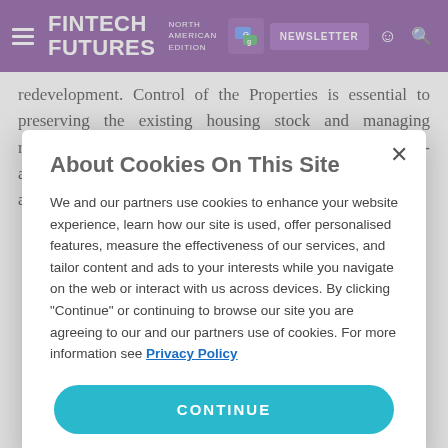FINTECH FUTURES NORTH AMERICAN EDITION | NEWSLETTER
redevelopment. Control of the Properties is essential to preserving the existing housing stock and managing redevelopment in the future to avoid any permanent low- and moderate-income tenant displacement. This acquisition
About Cookies On This Site
We and our partners use cookies to enhance your website experience, learn how our site is used, offer personalised features, measure the effectiveness of our services, and tailor content and ads to your interests while you navigate on the web or interact with us across devices. By clicking "Continue" or continuing to browse our site you are agreeing to our and our partners use of cookies. For more information see Privacy Policy
CONTINUE